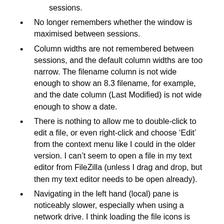sessions.
No longer remembers whether the window is maximised between sessions.
Column widths are not remembered between sessions, and the default column widths are too narrow. The filename column is not wide enough to show an 8.3 filename, for example, and the date column (Last Modified) is not wide enough to show a date.
There is nothing to allow me to double-click to edit a file, or even right-click and choose ‘Edit’ from the context menu like I could in the older version. I can’t seem to open a file in my text editor from FileZilla (unless I drag and drop, but then my text editor needs to be open already).
Navigating in the left hand (local) pane is noticeably slower, especially when using a network drive. I think loading the file icons is slower. It’s much slower than the right hand (remote) pane, anyway, which is silly.